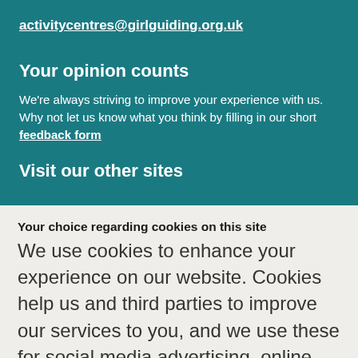activitycentres@girlguiding.org.uk
Your opinion counts
We're always striving to improve your experience with us. Why not let us know what you think by filling in our short feedback form
Visit our other sites
Your choice regarding cookies on this site
We use cookies to enhance your experience on our website. Cookies help us and third parties to improve our services to you, and we use these for social media advertising, online marketing and analytical purposes. By